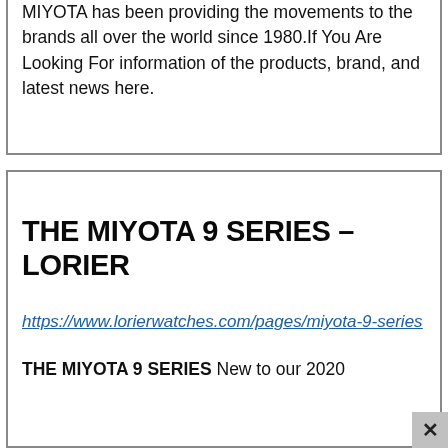MIYOTA has been providing the movements to the brands all over the world since 1980.If You Are Looking For information of the products, brand, and latest news here.
THE MIYOTA 9 SERIES – LORIER
https://www.lorierwatches.com/pages/miyota-9-series
THE MIYOTA 9 SERIES New to our 2020